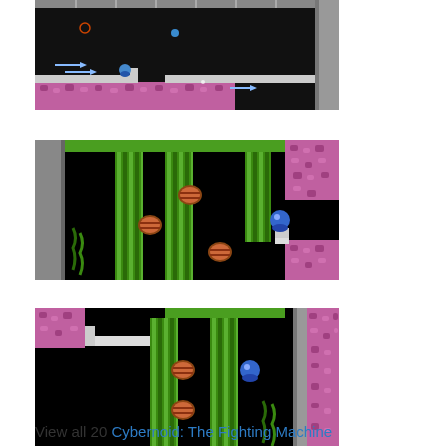[Figure (screenshot): Video game screenshot showing a dark space-themed level with a blue character, arrows/projectiles, gray platform structures and pink textured floor.]
[Figure (screenshot): Video game screenshot showing green twisted column obstacles on a black background, small barrel-shaped enemies, blue player character on the right, pink textured wall corner.]
[Figure (screenshot): Video game screenshot showing green twisted column obstacles on a black background, small barrel-shaped enemies, blue player character, pink textured wall on the right side.]
View all 20 Cybernoid: The Fighting Machine